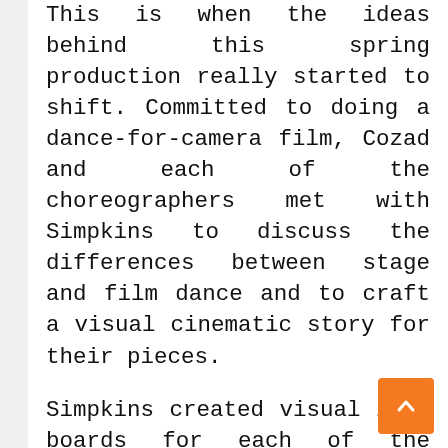This is when the ideas behind this spring production really started to shift. Committed to doing a dance-for-camera film, Cozad and each of the choreographers met with Simpkins to discuss the differences between stage and film dance and to craft a visual cinematic story for their pieces.
Simpkins created visual idea boards for each of the choreographers after speaking with them. This helped to aid ideas for the individualized setting, costuming, lighting and props for the ten pieces. All of this took place in the